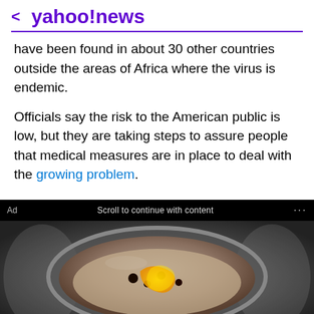< yahoo!news
have been found in about 30 other countries outside the areas of Africa where the virus is endemic.
Officials say the risk to the American public is low, but they are taking steps to assure people that medical measures are in place to deal with the growing problem.
[Figure (photo): Advertisement photo showing a bowl of oatmeal with toppings, displayed in a black ad banner. Ad label and 'Scroll to continue with content' text visible.]
Gundry MD Total Restore
If You Eat Oatmeal Every Day, This Is What